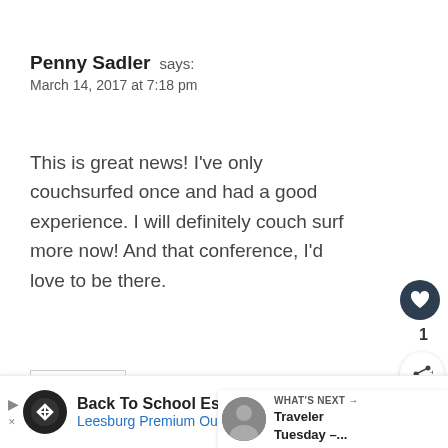Penny Sadler says:
March 14, 2017 at 7:18 pm
This is great news! I've only couchsurfed once and had a good experience. I will definitely couch surf more now! And that conference, I'd love to be there.
Reply
Anita Hendricks
[Figure (other): Heart like button (dark circle with heart icon), like count '1', share button, and 'WHAT'S NEXT' overlay with thumbnail and text 'Traveler Tuesday –...']
[Figure (other): Advertisement banner: Back To School Essentials, Leesburg Premium Outlets]